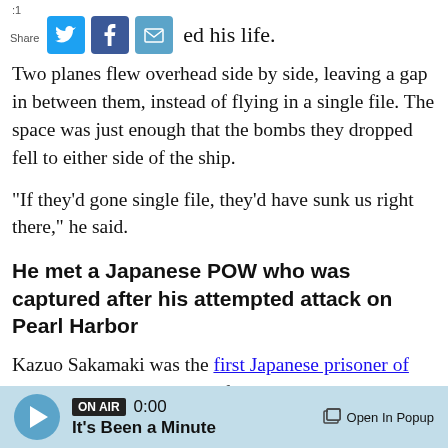...ed his life.
Two planes flew overhead side by side, leaving a gap in between them, instead of flying in a single file. The space was just enough that the bombs they dropped fell to either side of the ship.
"If they'd gone single file, they'd have sunk us right there," he said.
He met a Japanese POW who was captured after his attempted attack on Pearl Harbor
Kazuo Sakamaki was the first Japanese prisoner of war captured by American forces in WWII when his midget submarine ran aground during the attack
ON AIR 0:00 It's Been a Minute — Open In Popup